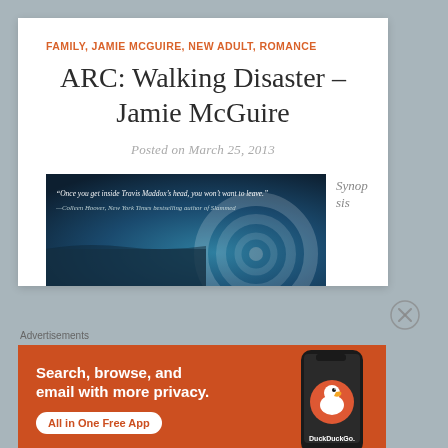FAMILY, JAMIE MCGUIRE, NEW ADULT, ROMANCE
ARC: Walking Disaster – Jamie McGuire
Posted on March 25, 2013
[Figure (photo): Book cover image with dark blue/grey swirl design and quote: 'Once you get inside Travis Maddox's head, you won't want to leave.' —Colleen Hoover, New York Times bestselling author of Slammed]
Synopsis
Advertisements
[Figure (other): DuckDuckGo advertisement banner: 'Search, browse, and email with more privacy. All in One Free App' with phone graphic showing DuckDuckGo logo]